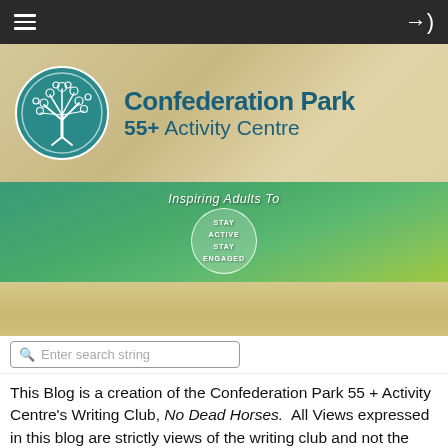[Figure (screenshot): Navigation bar with hamburger menu icon on left and login arrow icon on right, dark background]
[Figure (logo): Confederation Park 55+ Activity Centre logo: teal circle with white tree illustration, beside bold teal text reading 'Confederation Park 55+ Activity Centre', on grass/wheat background]
[Figure (infographic): Green nature banner with text 'Inspiring Adults To' and a circular badge reading 'STAY ACTIVE STAY ENGAGED']
[Figure (photo): Wheat/grass field background area]
Enter search string
This Blog is a creation of the Confederation Park 55 + Activity Centre's Writing Club, No Dead Horses.  All Views expressed in this blog are strictly views of the writing club and not the